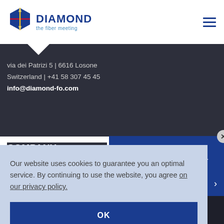[Figure (logo): Diamond SA logo: blue hexagon with red/yellow cross lines, text DIAMOND in dark blue, tagline 'the fiber meeting' in light blue]
via dei Patrizi 5 | 6616 Losone
Switzerland | +41 58 307 45 45
info@diamond-fo.com
COMPANY
Step by step to your ideal product
Our website uses cookies to guarantee you an optimal service. By continuing to use the website, you agree on our privacy policy.
OK
WE'RE WELL CONNECTED